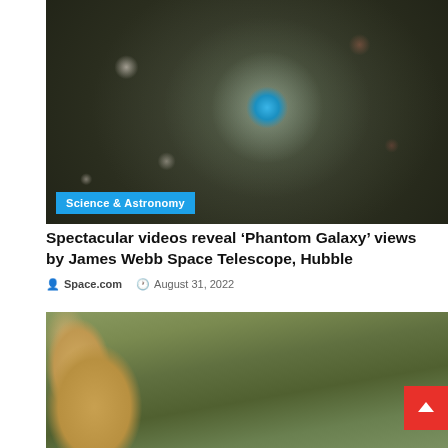[Figure (photo): Close-up image of the Phantom Galaxy (spiral galaxy) with swirling dust lanes and a bright blue core, viewed from above.]
Science & Astronomy
Spectacular videos reveal ‘Phantom Galaxy’ views by James Webb Space Telescope, Hubble
Space.com  August 31, 2022
[Figure (photo): Aerial satellite image showing a river delta or floodplain with brown silt-laden water on the left, surrounded by green and tan landscape with roads visible.]